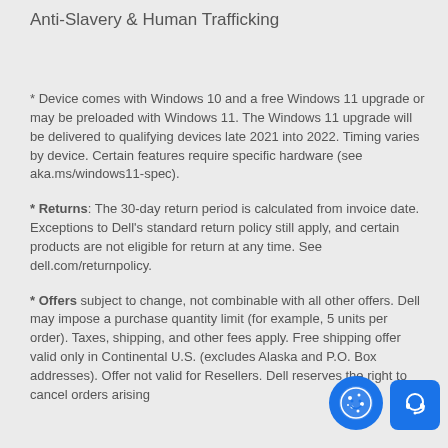Anti-Slavery & Human Trafficking
* Device comes with Windows 10 and a free Windows 11 upgrade or may be preloaded with Windows 11. The Windows 11 upgrade will be delivered to qualifying devices late 2021 into 2022. Timing varies by device. Certain features require specific hardware (see aka.ms/windows11-spec).
* Returns: The 30-day return period is calculated from invoice date. Exceptions to Dell's standard return policy still apply, and certain products are not eligible for return at any time. See dell.com/returnpolicy.
* Offers subject to change, not combinable with all other offers. Dell may impose a purchase quantity limit (for example, 5 units per order). Taxes, shipping, and other fees apply. Free shipping offer valid only in Continental U.S. (excludes Alaska and P.O. Box addresses). Offer not valid for Resellers. Dell reserves the right to cancel orders arising